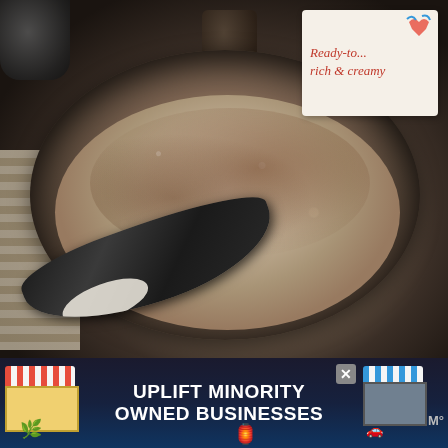[Figure (photo): Close-up food photo of a dark bowl filled with creamy oatmeal/porridge, sprinkled with cinnamon, with a dark spoon scooping some out and cream/milk pooling. Background shows a striped cloth/towel, a dark glass jar, and a product card in the top-right corner reading 'Ready-to... rich & creamy' in red italic script on white background.]
[Figure (infographic): Advertisement banner at the bottom of the page with dark navy background. Left side shows an illustrated storefront with red and white striped awning and a palm tree/plant. Center text in large white bold uppercase reads 'UPLIFT MINORITY OWNED BUSINESSES'. Right side shows another storefront with blue and white striped awning. A close (X) button is visible in the upper right area of the banner. A WW logo/icon is at the far right.]